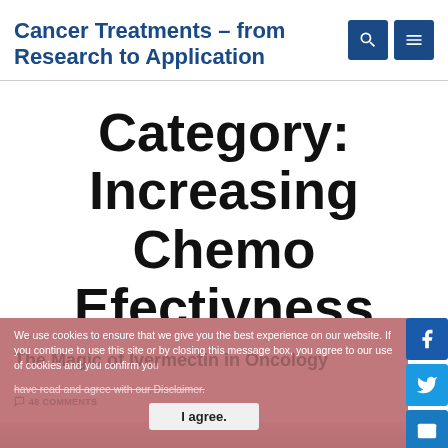Cancer Treatments – from Research to Application
Category: Increasing Chemo Efectivness
POSTED ON MAY 27, 2022
The Magic of Ivermectin in Oncology
48 COMMENTS
We use cookies to ensure that we give you the best experience on our website. If you continue to use this site or by closing this message box, you agree to our use of cookies and you confirm you have read and agree with our Disclaimer.
I agree.